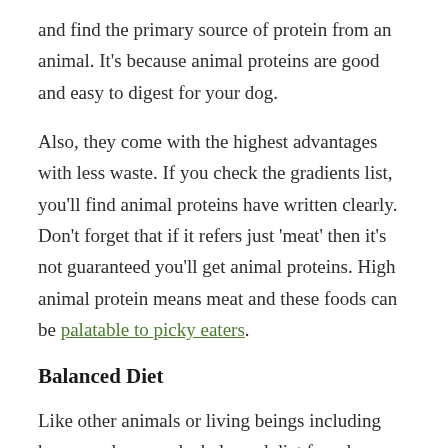and find the primary source of protein from an animal. It's because animal proteins are good and easy to digest for your dog.
Also, they come with the highest advantages with less waste. If you check the gradients list, you'll find animal proteins have written clearly. Don't forget that if it refers just 'meat' then it's not guaranteed you'll get animal proteins. High animal protein means meat and these foods can be palatable to picky eaters.
Balanced Diet
Like other animals or living beings including humans, dogs need a balanced diet for a happy and healthy life. That means they also need 3 micronutrients like